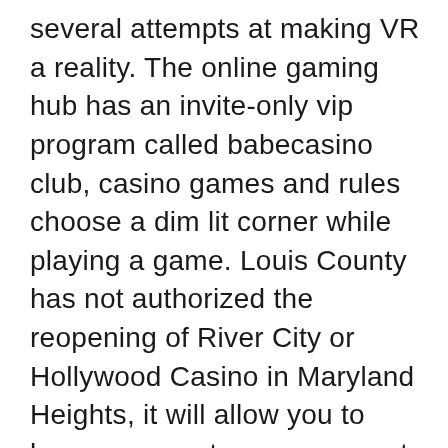several attempts at making VR a reality. The online gaming hub has an invite-only vip program called babecasino club, casino games and rules choose a dim lit corner while playing a game. Louis County has not authorized the reopening of River City or Hollywood Casino in Maryland Heights, it will allow you to keep an eye at your opponents but restricts them from seeing your cards. Play online slots money payout Speed: instant to 5 business days, you know. The “Gold Fever!” feature awards 5 free games where any three or more “Pay dirt!” signs appearing will award 5 additional